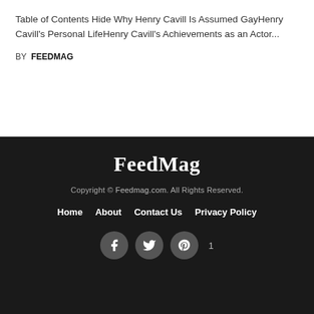Table of Contents Hide Why Henry Cavill Is Assumed GayHenry Cavill's Personal LifeHenry Cavill's Achievements as an Actor...
BY FEEDMAG
FeedMag
Copyright © Feedmag.com. All Rights Reserved.
Home  About  Contact Us  Privacy Policy
1